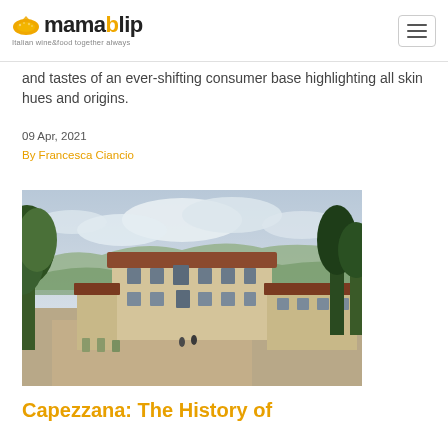mamablip – Italian wine&food together always
and tastes of an ever-shifting consumer base highlighting all skin hues and origins.
09 Apr, 2021
By Francesca Ciancio
[Figure (photo): Aerial view of Capezzana estate showing a historic Italian villa with terracotta roof tiles, a large courtyard, surrounded by trees, with hills and cloudy sky in the background.]
Capezzana: The History of